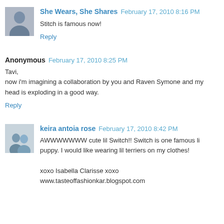She Wears, She Shares  February 17, 2010 8:16 PM
Stitch is famous now!
Reply
Anonymous  February 17, 2010 8:25 PM
Tavi,
now i'm imagining a collaboration by you and Raven Symone and my head is exploding in a good way.
Reply
keira antoia rose  February 17, 2010 8:42 PM
AWWWWWWW cute lil Switch!! Switch is one famous lil puppy. I would like wearing lil terriers on my clothes!

xoxo Isabella Clarisse xoxo
www.tasteoffashionkar.blogspot.com